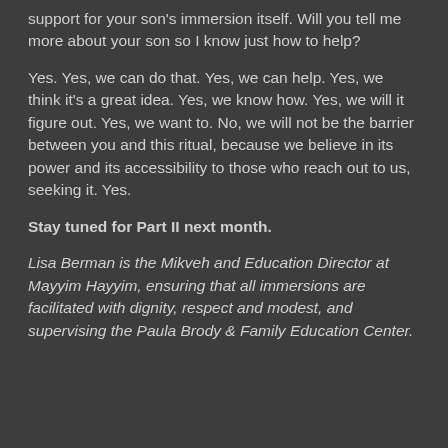support for your son’s immersion itself. Will you tell me more about your son so I know just how to help?
Yes. Yes, we can do that. Yes, we can help. Yes, we think it’s a great idea. Yes, we know how. Yes, we will it figure out. Yes, we want to. No, we will not be the barrier between you and this ritual, because we believe in its power and its accessibility to those who reach out to us, seeking it. Yes.
Stay tuned for Part II next month.
Lisa Berman is the Mikveh and Education Director at Mayyim Hayyim, ensuring that all immersions are facilitated with dignity, respect and modest, and supervising the Paula Brody & Family Education Center.